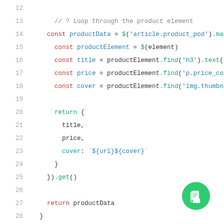[Figure (screenshot): Code editor screenshot showing JavaScript code lines 12–31 with syntax highlighting. Keywords in red/blue, property accesses in teal, strings in blue. A green FAB button with a document icon appears in the bottom-right corner.]